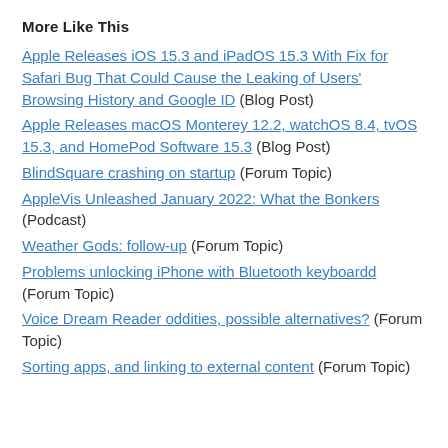More Like This
Apple Releases iOS 15.3 and iPadOS 15.3 With Fix for Safari Bug That Could Cause the Leaking of Users' Browsing History and Google ID (Blog Post)
Apple Releases macOS Monterey 12.2, watchOS 8.4, tvOS 15.3, and HomePod Software 15.3 (Blog Post)
BlindSquare crashing on startup (Forum Topic)
AppleVis Unleashed January 2022: What the Bonkers (Podcast)
Weather Gods: follow-up (Forum Topic)
Problems unlocking iPhone with Bluetooth keyboardd (Forum Topic)
Voice Dream Reader oddities, possible alternatives? (Forum Topic)
Sorting apps, and linking to external content (Forum Topic)